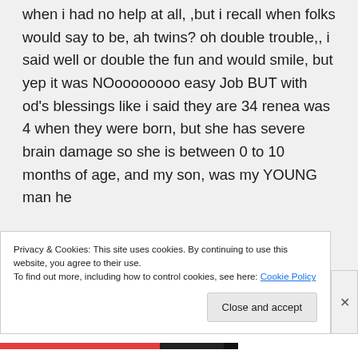when i had no help at all, ,but i recall when folks would say to be, ah twins? oh double trouble,, i said well or double the fun and would smile, but yep it was NOoooooooo easy Job BUT with od's blessings like i said they are 34 renea was 4 when they were born, but she has severe brain damage so she is between 0 to 10 months of age, and my son, was my YOUNG man he
Privacy & Cookies: This site uses cookies. By continuing to use this website, you agree to their use.
To find out more, including how to control cookies, see here: Cookie Policy